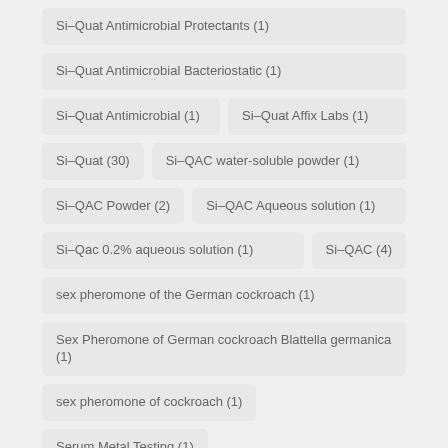Si–Quat Antimicrobial Protectants (1)
Si–Quat Antimicrobial Bacteriostatic (1)
Si–Quat Antimicrobial (1)
Si–Quat Affix Labs (1)
Si–Quat (30)
Si–QAC water-soluble powder (1)
Si–QAC Powder (2)
Si–QAC Aqueous solution (1)
Si–Qac 0.2% aqueous solution (1)
Si–QAC (4)
sex pheromone of the German cockroach (1)
Sex Pheromone of German cockroach Blattella germanica (1)
sex pheromone of cockroach (1)
Serum Metal Testing (1)
Self Disinfection Coating Solution cas 27668-52-6 (1)